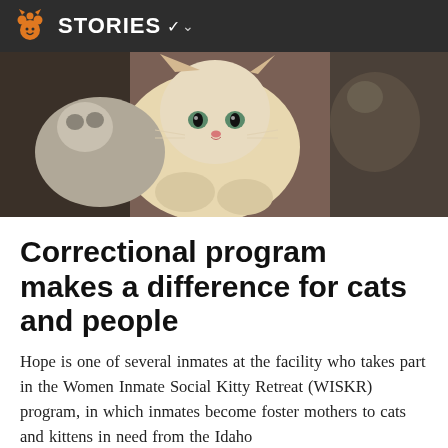STORIES
[Figure (photo): Close-up photograph of kittens cuddled together, including a white/cream kitten, a grey-and-white kitten, and a darker kitten in the background.]
Correctional program makes a difference for cats and people
Hope is one of several inmates at the facility who takes part in the Women Inmate Social Kitty Retreat (WISKR) program, in which inmates become foster mothers to cats and kittens in need from the Idaho